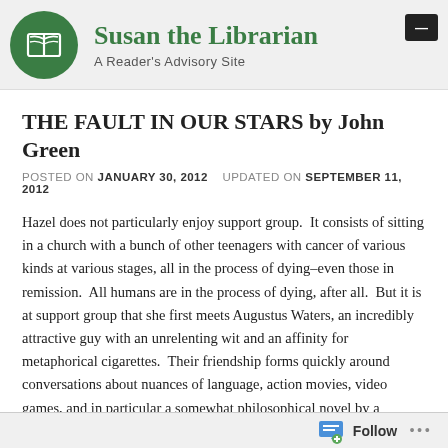Susan the Librarian — A Reader's Advisory Site
THE FAULT IN OUR STARS by John Green
POSTED ON JANUARY 30, 2012   UPDATED ON SEPTEMBER 11, 2012
Hazel does not particularly enjoy support group.  It consists of sitting in a church with a bunch of other teenagers with cancer of various kinds at various stages, all in the process of dying–even those in remission.  All humans are in the process of dying, after all.  But it is at support group that she first meets Augustus Waters, an incredibly attractive guy with an unrelenting wit and an affinity for metaphorical cigarettes.  Their friendship forms quickly around conversations about nuances of language, action movies, video games, and in particular a somewhat philosophical novel by a reclusive author.  Peter Van Houten's novel has had a profound influence on Hazel and her worldview, but there is